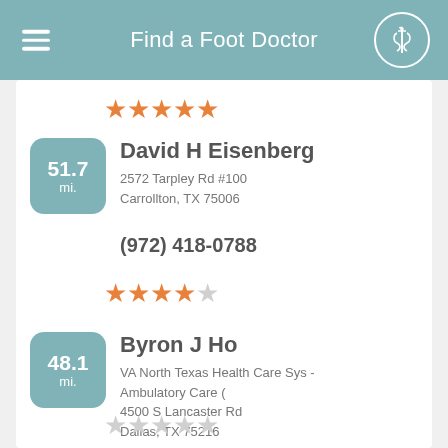Find a Foot Doctor
[Figure (other): 5 orange stars rating for previous listing]
David H Eisenberg
2572 Tarpley Rd #100
Carrollton, TX 75006
(972) 418-0788
[Figure (other): 4 orange stars and 1 empty star rating]
Byron J Ho
VA North Texas Health Care Sys - Ambulatory Care (
4500 S Lancaster Rd
Dallas, TX 75216
[Figure (other): 5 empty gray stars rating]